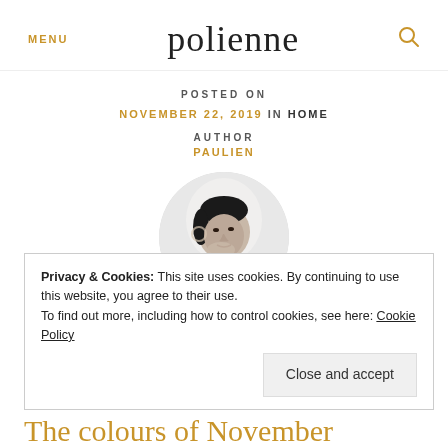MENU  polienne  🔍
POSTED ON
NOVEMBER 22, 2019 IN HOME
AUTHOR
PAULIEN
[Figure (photo): Circular black-and-white portrait photo of a woman resting her chin on her hand, wearing a black top and hoop earring]
Privacy & Cookies: This site uses cookies. By continuing to use this website, you agree to their use.
To find out more, including how to control cookies, see here: Cookie Policy
Close and accept
The colours of November